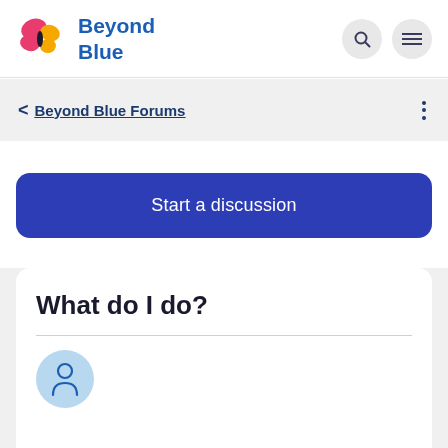Beyond Blue
Beyond Blue Forums
Start a discussion
What do I do?
[Figure (illustration): User avatar icon — blue person silhouette on light blue circle background]